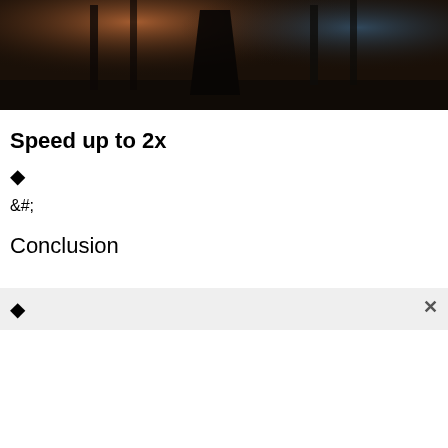[Figure (photo): Dark atmospheric photo with warm orange/amber glow on left side and cool blue tones on right, silhouette of a figure in a dark environment, possibly a forest or industrial setting]
Speed up to 2x
◆
&#;
Conclusion
◆